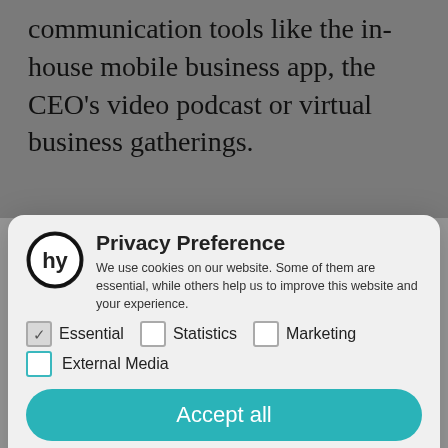communication tools like the in-house mobile business app, the CEO's video podcast or virtual business gatherings.
[Figure (screenshot): Privacy Preference modal dialog overlay on a webpage. Contains a logo, title 'Privacy Preference', description text, checkboxes for Essential (checked), Statistics, Marketing, External Media, an 'Accept all' teal button, a 'Save' button, and an 'Individual Privacy Preferences' link. Background shows blurred webpage text.]
We use cookies on our website. Some of them are essential, while others help us to improve this website and your experience.
Essential (checked), Statistics, Marketing, External Media (unchecked)
Accept all
Save
Individual Privacy Preferences